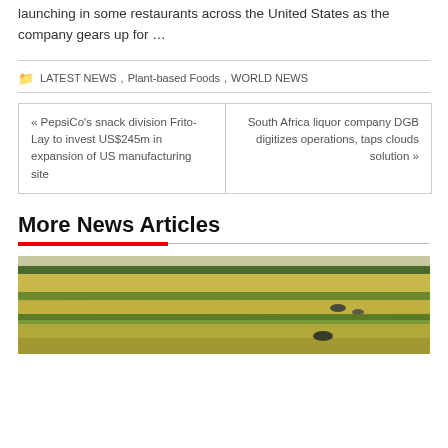Nuggets have made their first debut in the US consumer market, launching in some restaurants across the United States as the company gears up for …
LATEST NEWS, Plant-based Foods, WORLD NEWS
« PepsiCo's snack division Frito-Lay to invest US$245m in expansion of US manufacturing site
South Africa liquor company DGB digitizes operations, taps clouds solution »
More News Articles
[Figure (photo): Aerial view of agricultural farmland with yellow and green crop fields and farm machinery visible]